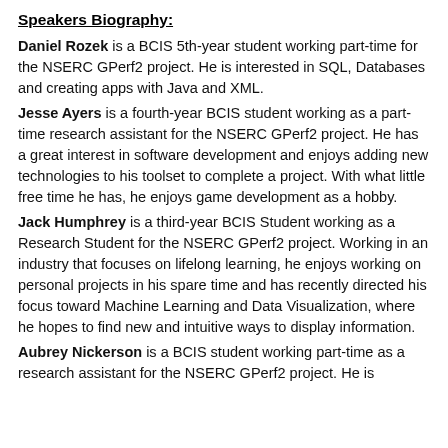Speakers Biography:
Daniel Rozek is a BCIS 5th-year student working part-time for the NSERC GPerf2 project.  He is interested in SQL, Databases and creating apps with Java and XML.
Jesse Ayers is a fourth-year BCIS student working as a part-time research assistant for the NSERC GPerf2 project. He has a great interest in software development and enjoys adding new technologies to his toolset to complete a project. With what little free time he has, he enjoys game development as a hobby.
Jack Humphrey is a third-year BCIS Student working as a Research Student for the NSERC GPerf2 project. Working in an industry that focuses on lifelong learning, he enjoys working on personal projects in his spare time and has recently directed his focus toward Machine Learning and Data Visualization, where he hopes to find new and intuitive ways to display information.
Aubrey Nickerson is a BCIS student working part-time as a research assistant for the NSERC GPerf2 project. He is